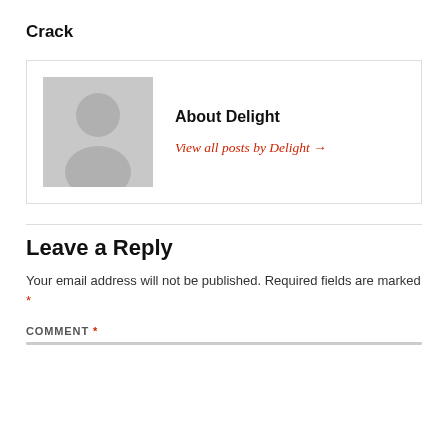Crack
[Figure (illustration): Author box with a grey placeholder avatar (person silhouette) and author info block showing 'About Delight' and 'View all posts by Delight →']
Leave a Reply
Your email address will not be published. Required fields are marked *
COMMENT *